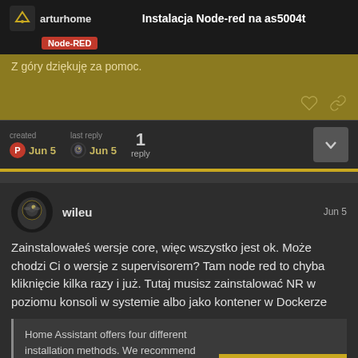Instalacja Node-red na as5004t
Node-RED
Z góry dziękuję za pomoc.
| created | last reply | 1 reply |
| --- | --- | --- |
| Jun 5 | Jun 5 |  |
wileu  Jun 5
Zainstalowałeś wersje core, więc wszystko jest ok. Może chodzi Ci o wersje z supervisorem? Tam node red to chyba kliknięcie kilka razy i już. Tutaj musisz zainstalować NR w poziomu konsoli w systemie albo jako kontener w Dockerze
Home Assistant offers four different installation methods. We recommend using one of the followi
1 / 2
Home Assistant Operating Syst...